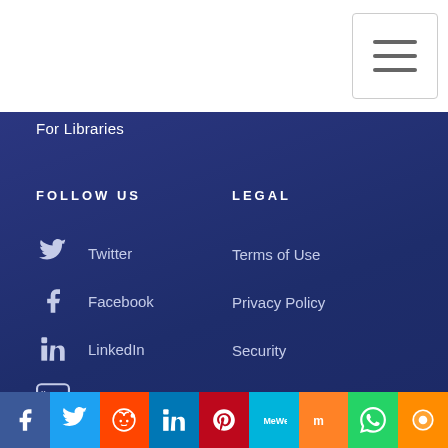[Figure (screenshot): Hamburger menu button in top-right corner of white navigation bar]
For Libraries
FOLLOW US
Twitter
Facebook
LinkedIn
YouTube
LEGAL
Terms of Use
Privacy Policy
Security
Cookie consent
This website or its third party tools use cookies, which are necessary to its functioning and required to achieve the purposes illustrated in the Privacy Policy. If you want to know more or withdraw your consent to all or some of the cookies, please refer to the Privacy Policy. By closing this banner, scrolling this page, clicking a link or
[Figure (infographic): Social media share bar at bottom with icons for Facebook, Twitter, Reddit, LinkedIn, Pinterest, MeWe, Mix, WhatsApp, and Chat]